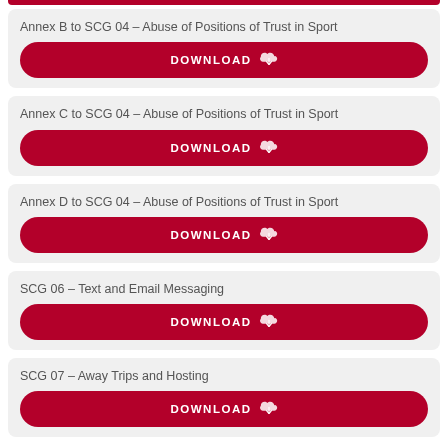Annex B to SCG 04 – Abuse of Positions of Trust in Sport
Annex C to SCG 04 – Abuse of Positions of Trust in Sport
Annex D to SCG 04 – Abuse of Positions of Trust in Sport
SCG 06 – Text and Email Messaging
SCG 07 – Away Trips and Hosting